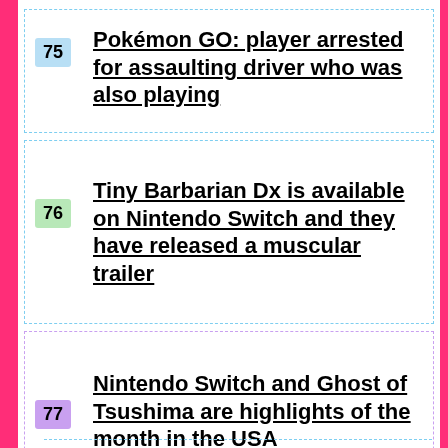75 Pokémon GO: player arrested for assaulting driver who was also playing
76 Tiny Barbarian Dx is available on Nintendo Switch and they have released a muscular trailer
77 Nintendo Switch and Ghost of Tsushima are highlights of the month in the USA